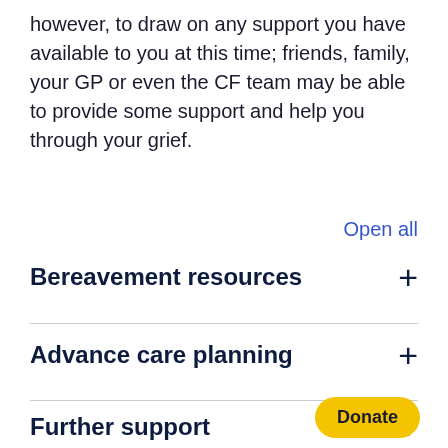however, to draw on any support you have available to you at this time; friends, family, your GP or even the CF team may be able to provide some support and help you through your grief.
Open all
Bereavement resources
Advance care planning
Further support